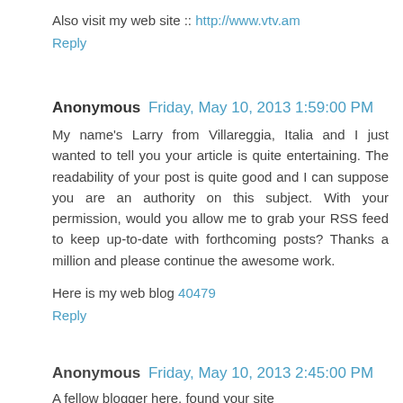Also visit my web site :: http://www.vtv.am
Reply
Anonymous  Friday, May 10, 2013 1:59:00 PM
My name's Larry from Villareggia, Italia and I just wanted to tell you your article is quite entertaining. The readability of your post is quite good and I can suppose you are an authority on this subject. With your permission, would you allow me to grab your RSS feed to keep up-to-date with forthcoming posts? Thanks a million and please continue the awesome work.
Here is my web blog 40479
Reply
Anonymous  Friday, May 10, 2013 2:45:00 PM
A fellow blogger here, found your site via Tiki Wiki, and I have a piece of advice: